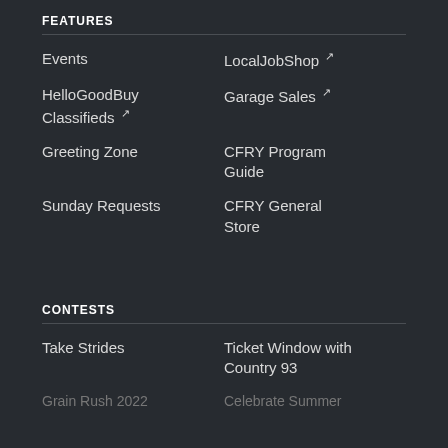FEATURES
Events
LocalJobShop ↗
HelloGoodBuy Classifieds ↗
Garage Sales ↗
Greeting Zone
CFRY Program Guide
Sunday Requests
CFRY General Store
CONTESTS
Take Strides
Ticket Window with Country 93
Grain Rush 2022
Celebrate Summer